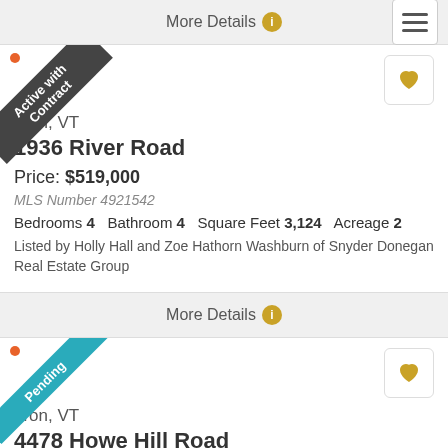More Details
[Figure (screenshot): Hamburger menu button (three horizontal lines) in top right corner]
Active with Contract
[Figure (illustration): Gold heart icon (favorite button)]
aron, VT
1936 River Road
Price: $519,000
MLS Number 4921542
Bedrooms 4    Bathroom 4    Square Feet 3,124    Acreage 2
Listed by Holly Hall and Zoe Hathorn Washburn of Snyder Donegan Real Estate Group
More Details
Pending
[Figure (illustration): Gold heart icon (favorite button)]
aron, VT
4478 Howe Hill Road
Price: $189,000
MLS Number 4921334